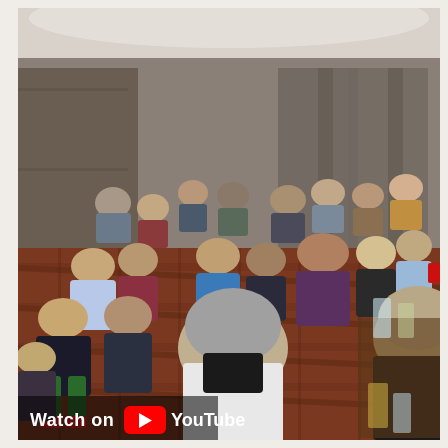[Figure (photo): A YouTube-embedded video screenshot showing a large audience seated in a conference or pub function room, listening to a presentation. The room has warm lighting, patterned carpet, curtains in the background, and tables with drinks. A 'Watch on YouTube' badge with the YouTube play button logo appears in the lower-left corner of the image.]